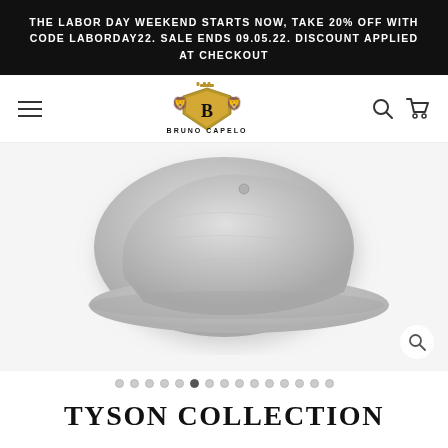THE LABOR DAY WEEKEND STARTS NOW, TAKE 20% OFF WITH CODE LABORDAY22. SALE ENDS 09.05.22. DISCOUNT APPLIED AT CHECKOUT
[Figure (logo): Bruno Capelo Luxury Headwear logo with two lions flanking a shield with letter B and a crown, in gold tones]
[Figure (photo): Gray wool flat cap / ivy cap hat product photo on white/light background, shown from a three-quarter front angle]
TYSON COLLECTION